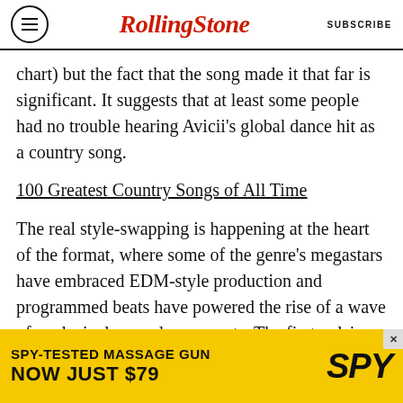Rolling Stone | SUBSCRIBE
chart) but the fact that the song made it that far is significant. It suggests that at least some people had no trouble hearing Avicii’s global dance hit as a country song.
100 Greatest Country Songs of All Time
The real style-swapping is happening at the heart of the format, where some of the genre’s megastars have embraced EDM-style production and programmed beats have powered the rise of a wave of explosively popular new acts. The first pulsing dance-pop single to scale the Hot Country Songs chart was Taylor Swift’s kiss-off “We Are Never Ever Getting Back Together,” produced by
[Figure (infographic): Advertisement banner for SPY massage gun: 'SPY-TESTED MASSAGE GUN NOW JUST $79' on yellow background with SPY logo]